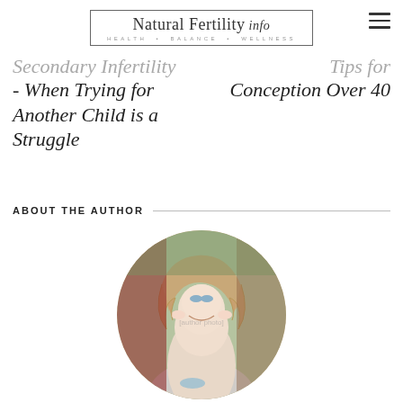[Figure (logo): Natural Fertility Info logo with script font and tagline HEALTH • BALANCE • WELLNESS in a bordered box]
- When Trying for Another Child is a Struggle
Conception Over 40
ABOUT THE AUTHOR
[Figure (photo): Circular portrait photo of a smiling blonde woman with long wavy hair, wearing a necklace, with colorful foliage in the background]